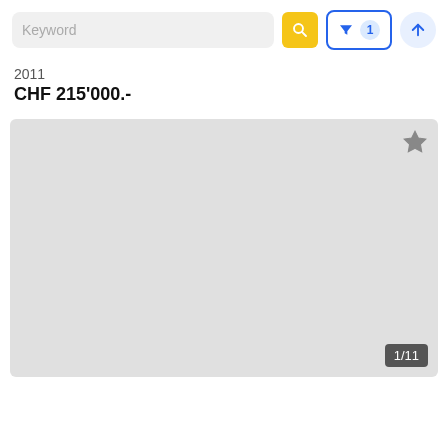[Figure (screenshot): Search interface with keyword input, yellow search button, filter button with count badge 1, and sort/upload button]
2011
CHF 215'000.-
[Figure (photo): Gray placeholder image area with a star/favorite icon in top right and page indicator 1/11 in bottom right]